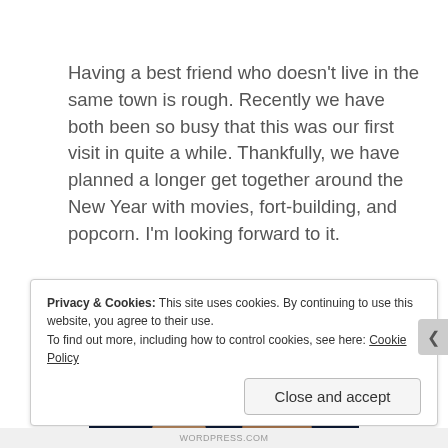Having a best friend who doesn't live in the same town is rough. Recently we have both been so busy that this was our first visit in quite a while. Thankfully, we have planned a longer get together around the New Year with movies, fort-building, and popcorn. I'm looking forward to it.
[Figure (photo): Two people posing for a photo at night with colorful holiday lights (purple, green, red, white) in the background reflecting off water, with a decorated structure visible behind them.]
Privacy & Cookies: This site uses cookies. By continuing to use this website, you agree to their use.
To find out more, including how to control cookies, see here: Cookie Policy
Close and accept